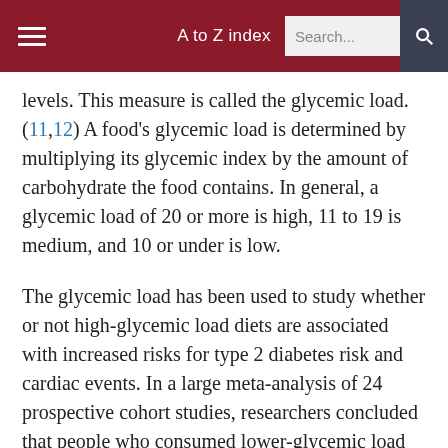A to Z index  Search...
levels. This measure is called the glycemic load. (11,12) A food's glycemic load is determined by multiplying its glycemic index by the amount of carbohydrate the food contains. In general, a glycemic load of 20 or more is high, 11 to 19 is medium, and 10 or under is low.
The glycemic load has been used to study whether or not high-glycemic load diets are associated with increased risks for type 2 diabetes risk and cardiac events. In a large meta-analysis of 24 prospective cohort studies, researchers concluded that people who consumed lower-glycemic load diets were at a lower risk of developing type 2